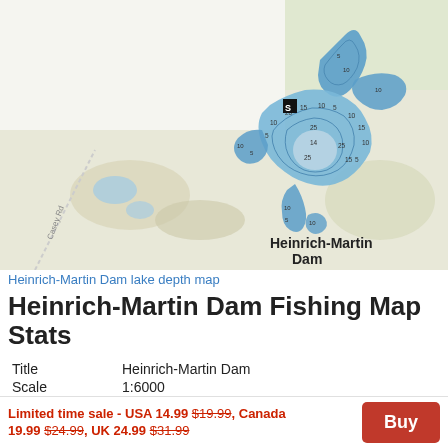[Figure (map): Heinrich-Martin Dam lake depth map showing bathymetric contour lines with depth numbers (5, 10, 15, 20, 25) over a topographic background. The lake is shown in blue with depth contours labeled. A road labeled 'Casey Rd' runs diagonally in the lower left. The label 'Heinrich-Martin Dam' appears on the map.]
Heinrich-Martin Dam lake depth map
Heinrich-Martin Dam Fishing Map Stats
| Title | Heinrich-Martin Dam |
| Scale | 1:6000 |
| Counties | LaMoure |
Limited time sale - USA 14.99 $19.99, Canada 19.99 $24.99, UK 24.99 $31.99